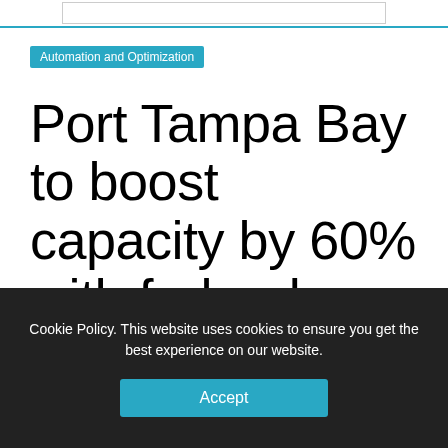Automation and Optimization
Port Tampa Bay to boost capacity by 60% with federal grant
June 17, 2020
Cookie Policy. This website uses cookies to ensure you get the best experience on our website.